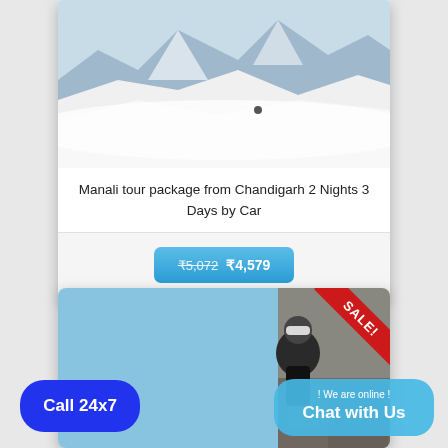[Figure (photo): Snow mountain landscape with a skier on a white slope, mountains in background]
Manali tour package from Chandigarh 2 Nights 3 Days by Car
₹5,072  ₹4,579
[Figure (photo): Person in ski gear and helmet on a rocky mountain with blue sky; SALE! ribbon in top right corner]
Call 24x7
! We are online ! Chat with Us